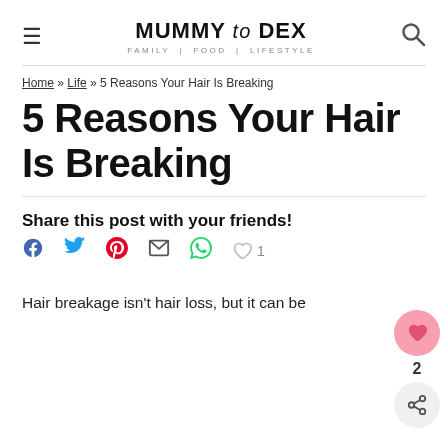MUMMY to DEX | FAMILY | FOOD | LIFESTYLE
Home » Life » 5 Reasons Your Hair Is Breaking
5 Reasons Your Hair Is Breaking
Share this post with your friends!
Hair breakage isn't hair loss, but it can be